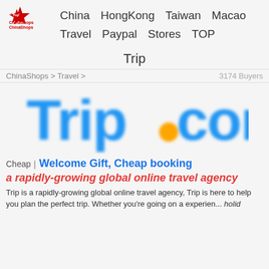China  HongKong  Taiwan  Macao  Travel  Paypal  Stores  TOP
Trip
ChinaShops > Travel >    3174 Buyers
[Figure (logo): Trip.com logo — bold blue rounded text 'Trip.com' with an orange dot replacing the period]
Cheap｜Welcome Gift, Cheap booking
a rapidly-growing global online travel agency
Trip is a rapidly-growing global online travel agency, Trip is here to help you plan the perfect trip. Whether you're going on a holiday...